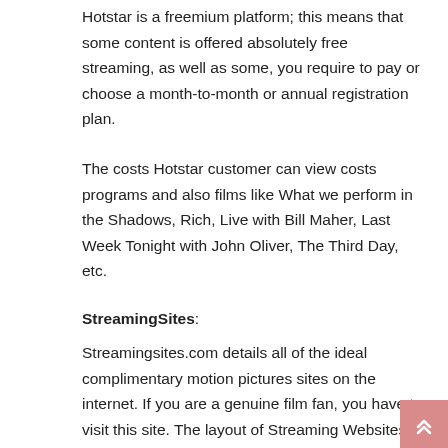Hotstar is a freemium platform; this means that some content is offered absolutely free streaming, as well as some, you require to pay or choose a month-to-month or annual registration plan.
The costs Hotstar customer can view costs programs and also films like What we perform in the Shadows, Rich, Live with Bill Maher, Last Week Tonight with John Oliver, The Third Day, etc.
StreamingSites:
Streamingsites.com details all of the ideal complimentary motion pictures sites on the internet. If you are a genuine film fan, you have to visit this site. The layout of Streaming Websites is excellent, and it's uncomplicated to utilize.